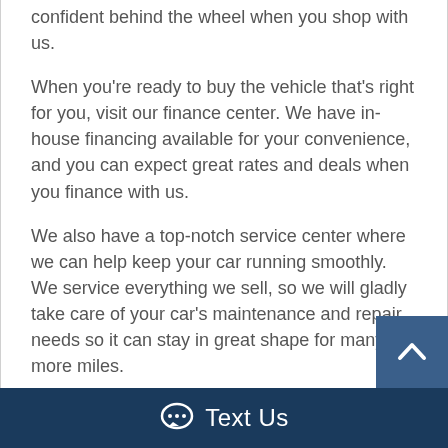confident behind the wheel when you shop with us.
When you're ready to buy the vehicle that's right for you, visit our finance center. We have in-house financing available for your convenience, and you can expect great rates and deals when you finance with us.
We also have a top-notch service center where we can help keep your car running smoothly. We service everything we sell, so we will gladly take care of your car's maintenance and repair needs so it can stay in great shape for many more miles.
When you're ready to take care of your pre-owned vehicle needs, be sure to visit our Searcy, AR dealership serving all of Central Arkansas & beyond. We would be happy to help you with everything from
Text Us